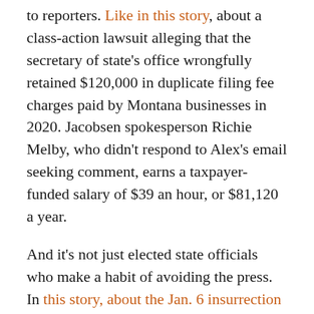to reporters. Like in this story, about a class-action lawsuit alleging that the secretary of state's office wrongfully retained $120,000 in duplicate filing fee charges paid by Montana businesses in 2020. Jacobsen spokesperson Richie Melby, who didn't respond to Alex's email seeking comment, earns a taxpayer-funded salary of $39 an hour, or $81,120 a year.
And it's not just elected state officials who make a habit of avoiding the press. In this story, about the Jan. 6 insurrection at the U.S. Capitol, Montana's sole representative, Matt Rosendale, refused to comment on the siege. His then-communications director, Harry Fones, didn't respond to emails seeking comment. Fones was paid $51,916.67